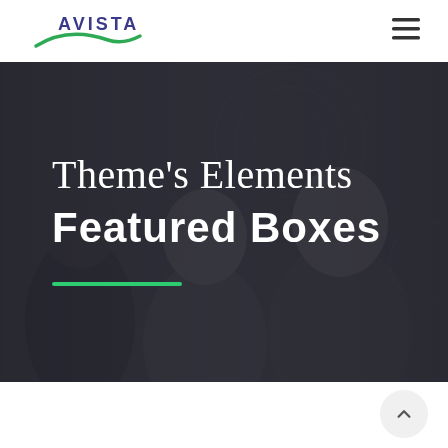[Figure (logo): Avista logo — text 'AVISTA' in dark blue above a green swoosh arc]
[Figure (other): Hamburger menu icon (three horizontal lines) in top right corner]
[Figure (photo): Dark-toned hero background photo of two people smiling in a meeting room setting]
Theme's Elements
Featured Boxes
[Figure (other): Short green horizontal divider line]
[Figure (other): Back to top arrow button (chevron up) in bottom right corner]